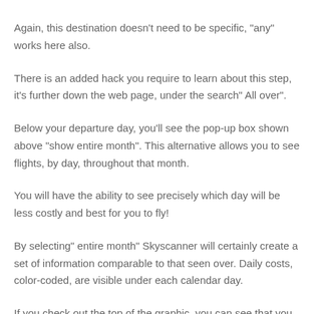Again, this destination doesn’t need to be specific, “any” works here also.
There is an added hack you require to learn about this step, it’s further down the web page, under the search” All over”.
Below your departure day, you’ll see the pop-up box shown above “show entire month”. This alternative allows you to see flights, by day, throughout that month.
You will have the ability to see precisely which day will be less costly and best for you to fly!
By selecting” entire month” Skyscanner will certainly create a set of information comparable to that seen over. Daily costs, color-coded, are visible under each calendar day.
If you check out the top of the graphic, you can see that you have